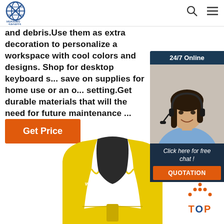HUAXING SPORTS
and debris.Use them as extra decoration to personalize a workspace with cool colors and designs. Shop for desktop keyboard s... save on supplies for home use or an o... setting.Get durable materials that will the need for future maintenance ...
[Figure (photo): Customer service representative woman wearing headset, with '24/7 Online' header, 'Click here for free chat!' text, and orange QUOTATION button]
Get Price
[Figure (photo): Yellow neoprene sports vest/sweat shaper with WARNING label visible, shown from back view]
[Figure (other): Orange TOP navigation button with upward arrow dots icon]